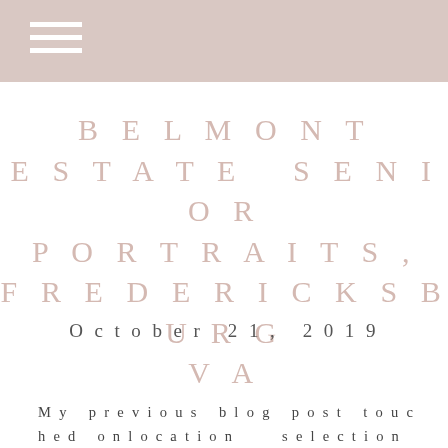BELMONT ESTATE SENIOR PORTRAITS, FREDERICKSBURG VA
October 21, 2019
My previous blog post touched on location selection and some elements such as lighting, color harmony/wardrobe to achieve an aesthetically pleasing portrait. There are so many elements, so I will be tackling a few at a tim…